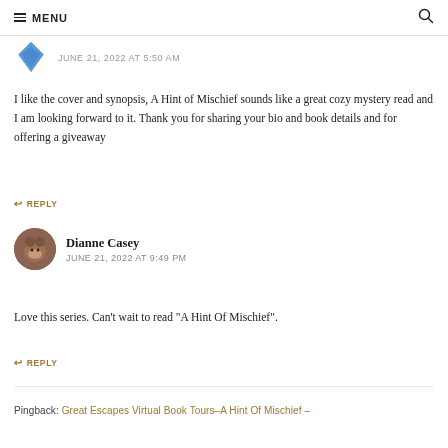MENU
JUNE 21, 2022 AT 5:50 AM
I like the cover and synopsis, A Hint of Mischief sounds like a great cozy mystery read and I am looking forward to it. Thank you for sharing your bio and book details and for offering a giveaway
REPLY
Dianne Casey
JUNE 21, 2022 AT 9:49 PM
Love this series. Can’t wait to read “A Hint Of Mischief”.
REPLY
Pingback: Great Escapes Virtual Book Tours–A Hint Of Mischief –